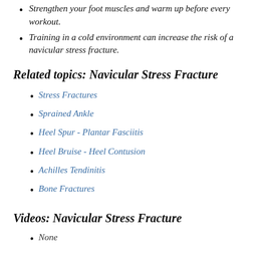Strengthen your foot muscles and warm up before every workout.
Training in a cold environment can increase the risk of a navicular stress fracture.
Related topics: Navicular Stress Fracture
Stress Fractures
Sprained Ankle
Heel Spur - Plantar Fasciitis
Heel Bruise - Heel Contusion
Achilles Tendinitis
Bone Fractures
Videos: Navicular Stress Fracture
None